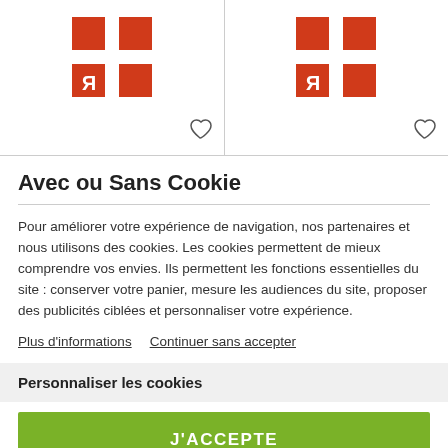[Figure (logo): Red angular logo with stylized R letter, two instances side by side in product card layout]
Avec ou Sans Cookie
Pour améliorer votre expérience de navigation, nos partenaires et nous utilisons des cookies. Les cookies permettent de mieux comprendre vos envies. Ils permettent les fonctions essentielles du site : conserver votre panier, mesure les audiences du site, proposer des publicités ciblées et personnaliser votre expérience.
Plus d'informations   Continuer sans accepter
Personnaliser les cookies
J'ACCEPTE